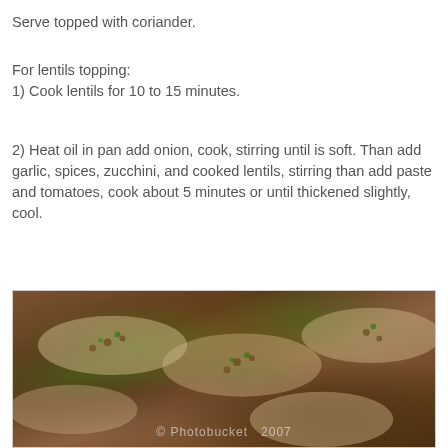Serve topped with coriander.
For lentils topping:
1) Cook lentils for 10 to 15 minutes.
2) Heat oil in pan add onion, cook, stirring until is soft. Than add garlic, spices, zucchini, and cooked lentils, stirring than add paste and tomatoes, cook about 5 minutes or until thickened slightly, cool.
[Figure (photo): Photo of flatbreads topped with lentil mixture and fresh coriander/cilantro leaves, with a photobucket watermark at the bottom.]